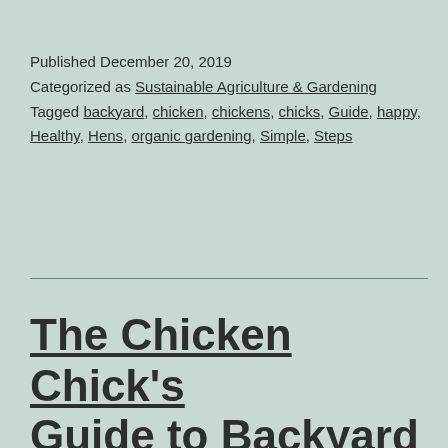Published December 20, 2019
Categorized as Sustainable Agriculture & Gardening
Tagged backyard, chicken, chickens, chicks, Guide, happy, Healthy, Hens, organic gardening, Simple, Steps
The Chicken Chick's Guide to Backyard